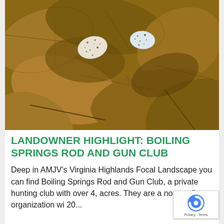[Figure (photo): Close-up photo of two small speckled bird eggs resting on brown dried leaves on the ground]
LANDOWNER HIGHLIGHT: BOILING SPRINGS ROD AND GUN CLUB
Deep in AMJV's Virginia Highlands Focal Landscape you can find Boiling Springs Rod and Gun Club, a private hunting club with over 4, acres. They are a non-profit organization wi 20...